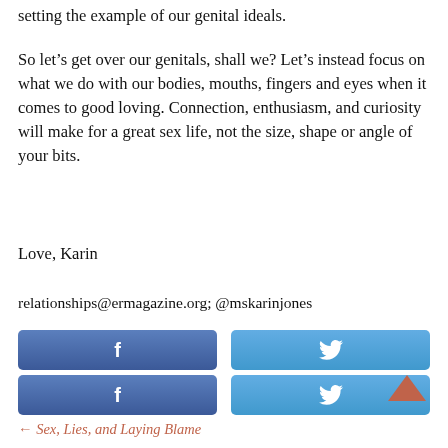setting the example of our genital ideals.
So let’s get over our genitals, shall we? Let’s instead focus on what we do with our bodies, mouths, fingers and eyes when it comes to good loving. Connection, enthusiasm, and curiosity will make for a great sex life, not the size, shape or angle of your bits.
Love, Karin
relationships@ermagazine.org; @mskarinjones
[Figure (other): Two rows of social share buttons: Facebook (f) and Twitter (bird icon) buttons in each row]
← Sex, Lies, and Laying Blame